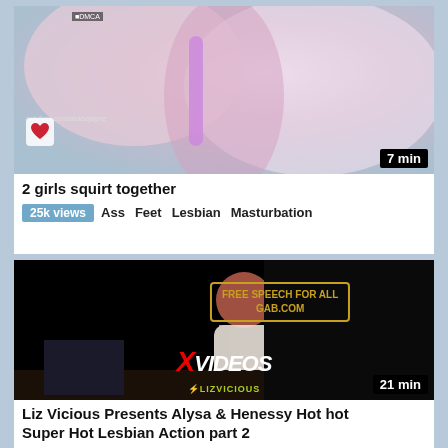[Figure (screenshot): Video thumbnail for '2 girls squirt together', duration 7 min, with DMCA watermark and onlyfans.com/aleksajayne watermark]
2 girls squirt together
25k views   Ass   Feet   Lesbian   Masturbation
[Figure (screenshot): Video thumbnail for 'Liz Vicious Presents Alysa & Henessy Hot hot Super Hot Lesbian Action part 2', duration 21 min, with FREE SPEECH FOR ALL GAB.COM overlay and XVIDEOS / LIZVICIOUS branding]
Liz Vicious Presents Alysa & Henessy Hot hot Super Hot Lesbian Action part 2